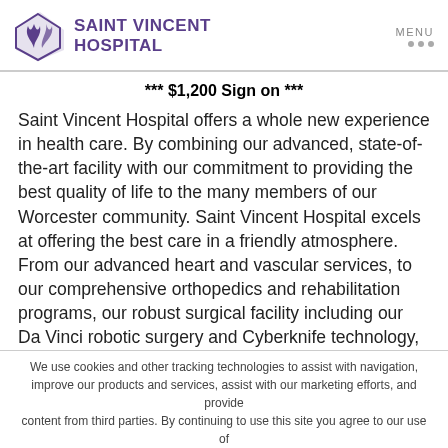Saint Vincent Hospital — MENU navigation header
*** $1,200 Sign on ***
Saint Vincent Hospital offers a whole new experience in health care. By combining our advanced, state-of-the-art facility with our commitment to providing the best quality of life to the many members of our Worcester community. Saint Vincent Hospital excels at offering the best care in a friendly atmosphere. From our advanced heart and vascular services, to our comprehensive orthopedics and rehabilitation programs, our robust surgical facility including our Da Vinci robotic surgery and Cyberknife technology, to our comfortable and compassionate women & infants programs - you don't have to travel far for high-quality
We use cookies and other tracking technologies to assist with navigation, improve our products and services, assist with our marketing efforts, and provide content from third parties. By continuing to use this site you agree to our use of